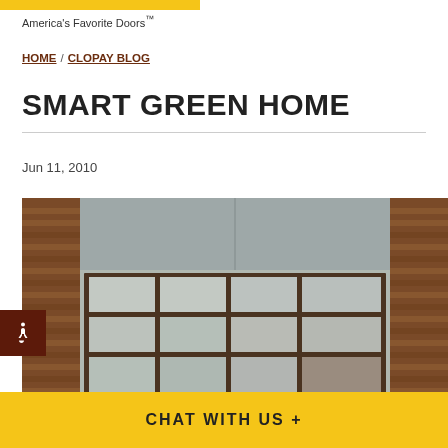America's Favorite Doors™
HOME / CLOPAY BLOG
SMART GREEN HOME
Jun 11, 2010
[Figure (photo): Modern garage door with aluminum frame and frosted glass panels, flanked by horizontal wood slat siding and concrete header above.]
CHAT WITH US +